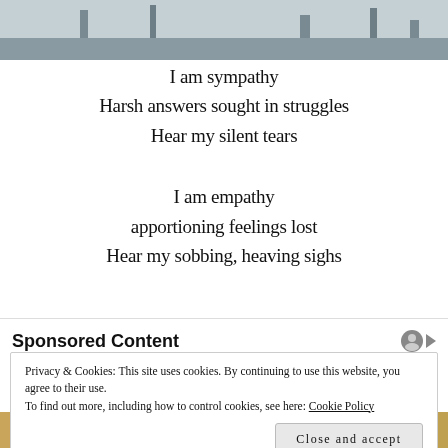[Figure (photo): Top portion of a photo showing urban/industrial structures against a grey sky]
I am sympathy
Harsh answers sought in struggles
Hear my silent tears
I am empathy
apportioning feelings lost
Hear my sobbing, heaving sighs
Sponsored Content
Privacy & Cookies: This site uses cookies. By continuing to use this website, you agree to their use.
To find out more, including how to control cookies, see here: Cookie Policy
Close and accept
[Figure (photo): Bottom portion of a photo showing a person with yellow/knit item]